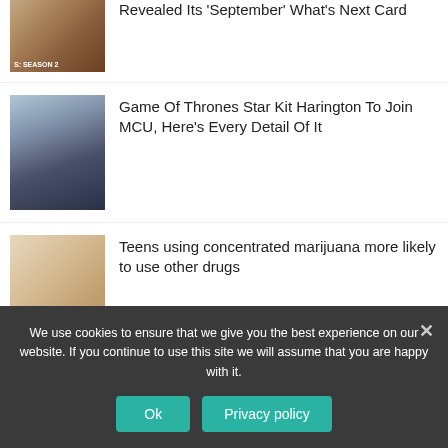[Figure (photo): Partial thumbnail of a TV show card labelled S: SEASON 2, cropped at the top]
Revealed Its 'September' What's Next Card
[Figure (photo): Game of Thrones actor Kit Harington in snowy scene as Jon Snow]
Game Of Thrones Star Kit Harington To Join MCU, Here's Every Detail Of It
[Figure (photo): A hand holding a thin stick or joint, close-up]
Teens using concentrated marijuana more likely to use other drugs
[Figure (photo): Batman figure standing against a moonlit sky]
Telltale Games, home of Batman and The Walking Deadseries, reanimated.
We use cookies to ensure that we give you the best experience on our website. If you continue to use this site we will assume that you are happy with it.